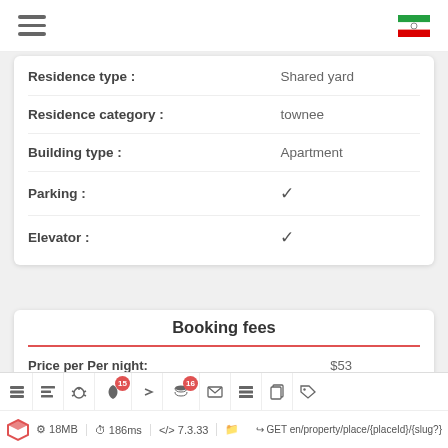Navigation header with hamburger menu and Iranian flag icon
| Property | Value |
| --- | --- |
| Residence type : | Shared yard |
| Residence category : | townee |
| Building type : | Apartment |
| Parking : | ✓ |
| Elevator : | ✓ |
Booking fees
| Label | Value |
| --- | --- |
| Price per Per night: | $53 |
Debug toolbar: 18MB  186ms  7.3.33 | GET en/property/place/{placeId}/{slug?}